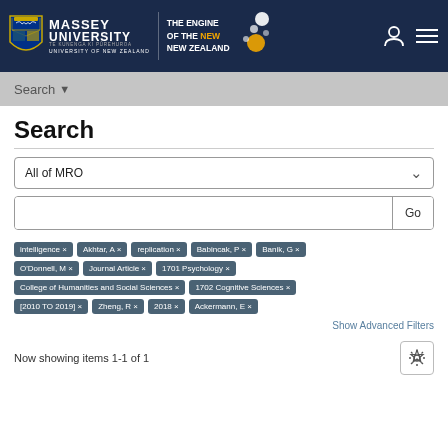[Figure (logo): Massey University logo with shield and text 'THE ENGINE OF THE NEW NEW ZEALAND' on dark navy header]
Search ▾
Search
All of MRO
Go
intelligence ×
Akhtar, A ×
replication ×
Babincak, P ×
Banik, G ×
O'Donnell, M ×
Journal Article ×
1701 Psychology ×
College of Humanities and Social Sciences ×
1702 Cognitive Sciences ×
[2010 TO 2019] ×
Zheng, R ×
2018 ×
Ackermann, E ×
Show Advanced Filters
Now showing items 1-1 of 1